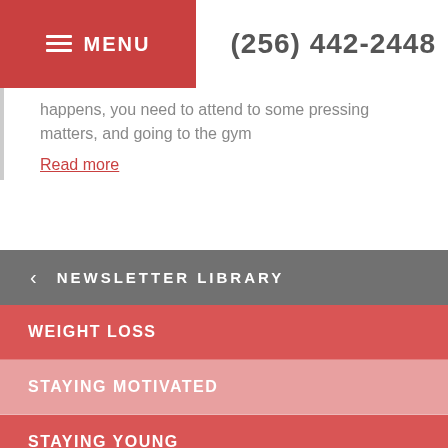≡ MENU  (256) 442-2448
happens, you need to attend to some pressing matters, and going to the gym
Read more
NEWSLETTER LIBRARY
WEIGHT LOSS
STAYING MOTIVATED
STAYING YOUNG
LIFE-WORK BALANCE
STRESS & ANXIETY